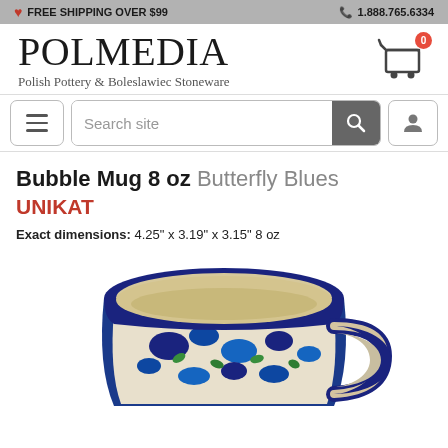FREE SHIPPING OVER $99   1.888.765.6334
[Figure (logo): POLMEDIA logo with tagline 'Polish Pottery & Boleslawiec Stoneware' and shopping cart icon with badge 0]
[Figure (screenshot): Navigation bar with hamburger menu button, search site input field, search button, and user account button]
Bubble Mug 8 oz Butterfly Blues UNIKAT
Exact dimensions: 4.25" x 3.19" x 3.15" 8 oz
[Figure (photo): Top-down and partial side view of a Polish pottery bubble mug with blue floral Butterfly Blues pattern on exterior and cream interior, with handle visible on right side]